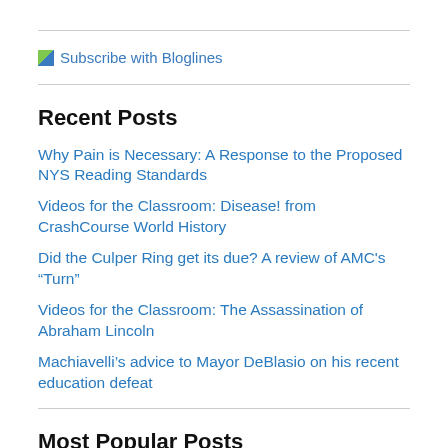[Figure (other): Subscribe with Bloglines button/image with broken image icon and text]
Recent Posts
Why Pain is Necessary: A Response to the Proposed NYS Reading Standards
Videos for the Classroom: Disease! from CrashCourse World History
Did the Culper Ring get its due? A review of AMC’s “Turn”
Videos for the Classroom: The Assassination of Abraham Lincoln
Machiavelli’s advice to Mayor DeBlasio on his recent education defeat
Most Popular Posts
Review of Part 1 of PBS’ “Black in Latin America” - Haiti/Dominican Republic
Movies for the Classroom: 100 Free Movies Online from